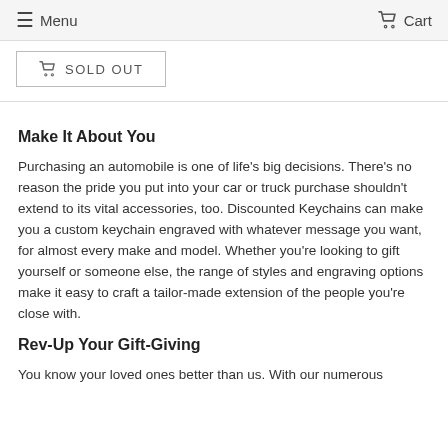Menu  Cart
SOLD OUT
Make It About You
Purchasing an automobile is one of life's big decisions. There's no reason the pride you put into your car or truck purchase shouldn't extend to its vital accessories, too. Discounted Keychains can make you a custom keychain engraved with whatever message you want, for almost every make and model. Whether you're looking to gift yourself or someone else, the range of styles and engraving options make it easy to craft a tailor-made extension of the people you're close with.
Rev-Up Your Gift-Giving
You know your loved ones better than us. With our numerous